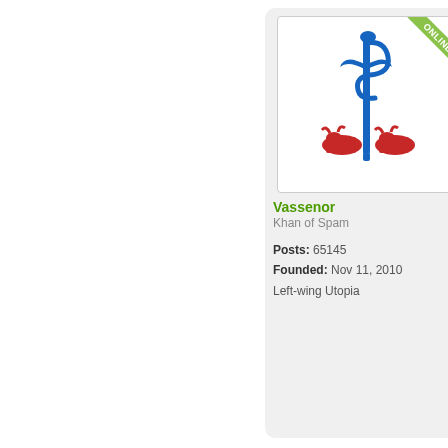[Figure (illustration): User avatar showing a blue caduceus-like symbol with red bull/animals at the base on white background]
ONLINE badge on avatar corner
Vassenor
Khan of Spam

Posts: 65145
Founded: Nov 11, 2010
Left-wing Utopia
D
by
Vassenor
»
Thu
Dec
02,
2021
10:48
am

So
if
wo
are
to
be
req
to
giv
birt
in
the
US
are
the
stil
goi